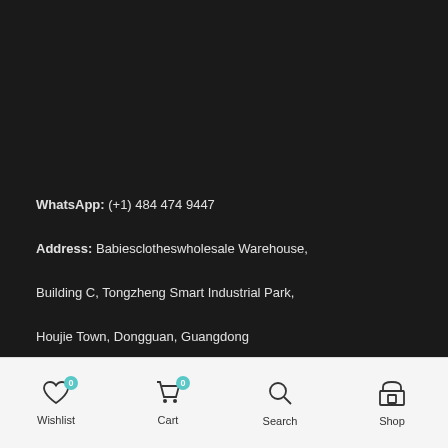WhatsApp: (+1) 484 474 9447
Address: Babiesclotheswholesale Warehouse,
Building C, Tongzheng Smart Industrial Park,
Houjie Town, Dongguan, Guangdong
GET TO KNOW US
LET US HELP YOU
Wishlist 0 | Cart 0 | Search | Shop